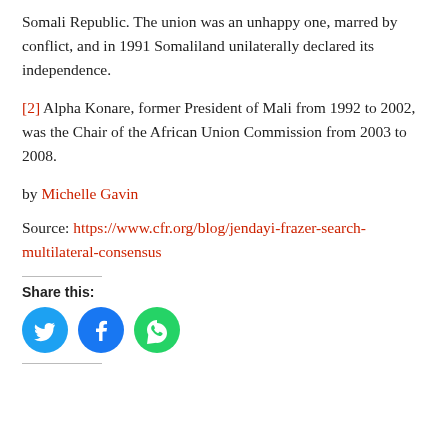Somali Republic. The union was an unhappy one, marred by conflict, and in 1991 Somaliland unilaterally declared its independence.
[2] Alpha Konare, former President of Mali from 1992 to 2002, was the Chair of the African Union Commission from 2003 to 2008.
by Michelle Gavin
Source: https://www.cfr.org/blog/jendayi-frazer-search-multilateral-consensus
Share this:
[Figure (infographic): Three circular social share buttons: Twitter (cyan), Facebook (blue), WhatsApp (green)]